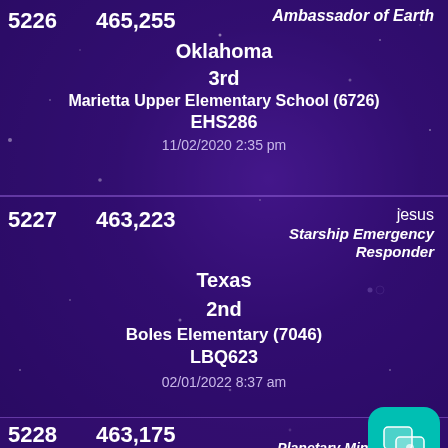| Rank | Score | Username/Title | State | Grade | School | Code | Timestamp |
| --- | --- | --- | --- | --- | --- | --- | --- |
| 5226 | 465,255 | Ambassador of Earth | Oklahoma | 3rd | Marietta Upper Elementary School (6726) | EHS286 | 11/02/2020 2:35 pm |
| 5227 | 463,223 | jesus / Starship Emergency Responder | Texas | 2nd | Boles Elementary (7046) | LBQ623 | 02/01/2022 8:37 am |
| 5228 | 463,175 | Payten / Planetary Mining Technician | Georgia |  |  |  |  |